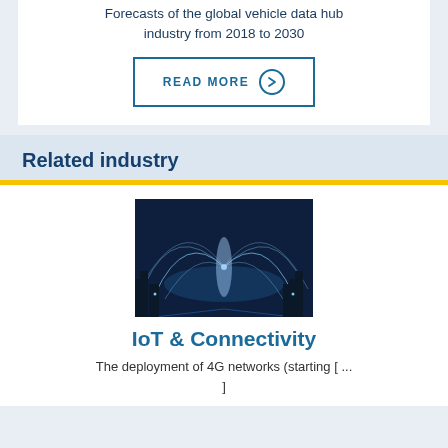Forecasts of the global vehicle data hub industry from 2018 to 2030
READ MORE
Related industry
[Figure (photo): Night cityscape with glowing network connectivity arcs over a city skyline, dark blue tones]
IoT & Connectivity
The deployment of 4G networks (starting [ ... ]